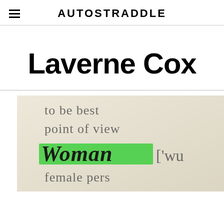AUTOSTRADDLE
Laverne Cox
[Figure (photo): Close-up photograph of a dictionary page showing the word 'Woman' highlighted in green, with surrounding text 'to be best', 'point of view', '[\'wu', 'female pers']